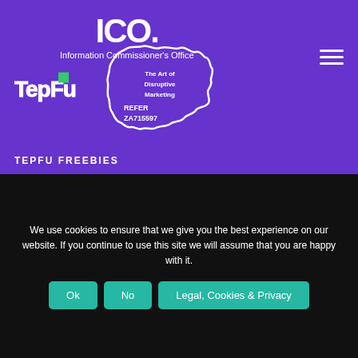[Figure (logo): ICO - Information Commissioner's Office logo with large 'ICO.' text and subtitle]
[Figure (logo): TepFu logo in white with green square]
[Figure (logo): Splat stamp with 'The Art of Disruptive Marketing' text and REFER ZA715597]
TEPFU FREEBIES
[Figure (logo): LinkedIn logo - large white 'LinkedIn' text with teal 'in' box]
TepFu's 12 LinkedIn Power-ups
We use cookies to ensure that we give you the best experience on our website. If you continue to use this site we will assume that you are happy with it.
Ok  No  Legal, Cookies & Privacy